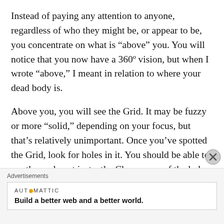Instead of paying any attention to anyone, regardless of who they might be, or appear to be, you concentrate on what is “above” you. You will notice that you now have a 360º vision, but when I wrote “above,” I meant in relation to where your dead body is.
Above you, you will see the Grid. It may be fuzzy or more “solid,” depending on your focus, but that’s relatively unimportant. Once you’ve spotted the Grid, look for holes in it. You should be able to see those almost instantly. Choose one of the holes, focus on it and put out the thought and
Advertisements
[Figure (logo): Automattic logo with orange dot between AUT and MATTIC, with tagline: Build a better web and a better world.]